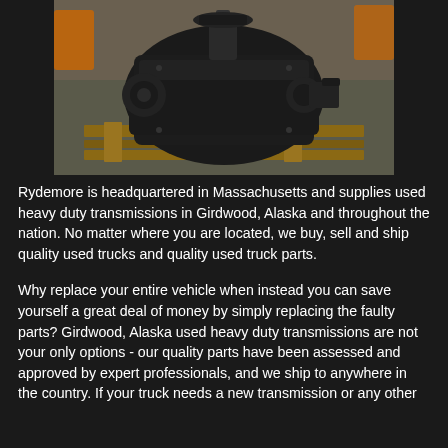[Figure (photo): A large black heavy duty truck transmission/gearbox sitting on wooden pallets in a workshop or garage setting. The transmission is dark/black colored and appears to be a large industrial component.]
Rydemore is headquartered in Massachusetts and supplies used heavy duty transmissions in Girdwood, Alaska and throughout the nation. No matter where you are located, we buy, sell and ship quality used trucks and quality used truck parts.
Why replace your entire vehicle when instead you can save yourself a great deal of money by simply replacing the faulty parts? Girdwood, Alaska used heavy duty transmissions are not your only options - our quality parts have been assessed and approved by expert professionals, and we ship to anywhere in the country. If your truck needs a new transmission or any other